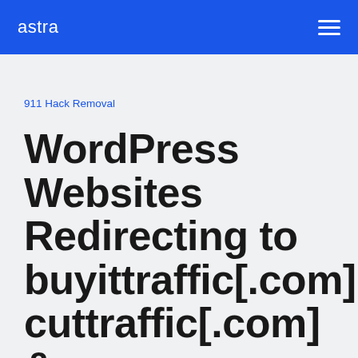astra
911 Hack Removal
WordPress Websites Redirecting to buyittraffic[.com], cuttraffic[.com] &